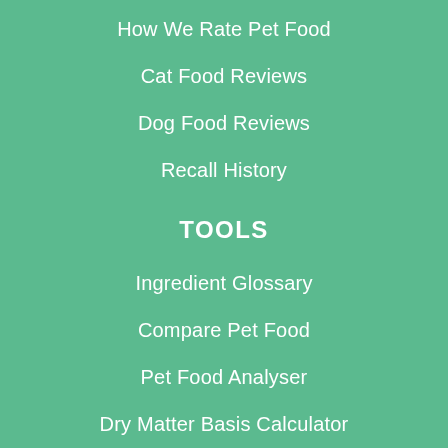How We Rate Pet Food
Cat Food Reviews
Dog Food Reviews
Recall History
TOOLS
Ingredient Glossary
Compare Pet Food
Pet Food Analyser
Dry Matter Basis Calculator
BLOG
10 Best Wet Dog Foods
10 Best Wet Cat Food
10 Best Dry Dog Foods